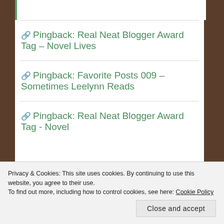Pingback: Real Neat Blogger Award Tag – Novel Lives
Pingback: Favorite Posts 009 – Sometimes Leelynn Reads
Pingback: Real Neat Blogger Award Tag - Novel
Privacy & Cookies: This site uses cookies. By continuing to use this website, you agree to their use.
To find out more, including how to control cookies, see here: Cookie Policy
Close and accept